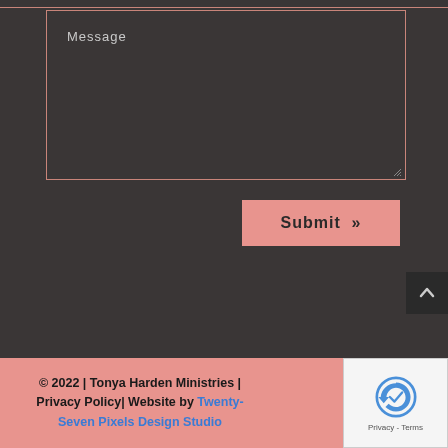Message
Submit »
© 2022 | Tonya Harden Ministries | Privacy Policy| Website by Twenty-Seven Pixels Design Studio